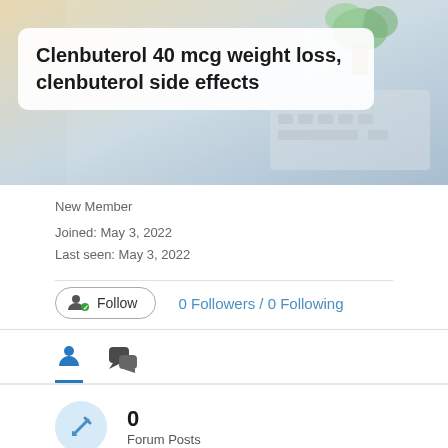[Figure (photo): Banner image showing a desk with a keyboard and plant in the background, with a white rounded rectangle overlay containing the title text]
Clenbuterol 40 mcg weight loss, clenbuterol side effects
New Member
Joined: May 3, 2022
Last seen: May 3, 2022
Follow   0 Followers / 0 Following
[Figure (screenshot): Tab navigation with person icon (active, blue underline) and chat bubbles icon]
0
Forum Posts
0
Topics